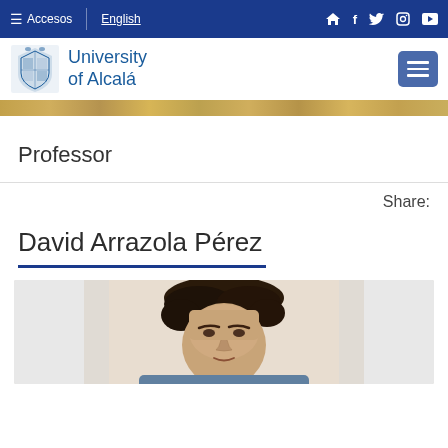≡ Accesos | English
[Figure (logo): University of Alcalá logo with emblem and text]
[Figure (photo): Decorative building/campus image strip]
Professor
Share:
David Arrazola Pérez
[Figure (photo): Portrait photo of David Arrazola Pérez, showing head and upper body, dark curly hair]